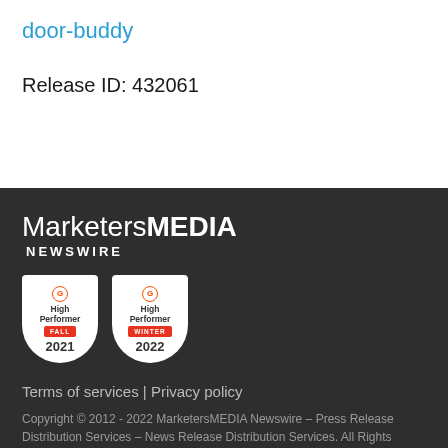door-buddy
Release ID: 432061
[Figure (logo): MarketersMEDIA Newswire logo in white text on dark background]
[Figure (illustration): Two G2 High Performer badges: Fall 2021 and Winter 2022]
Terms of services | Privacy policy
Copyright © 2012 - 2022 MarketersMEDIA Newswire – Press Release Distribution Services – News Release Distribution Services. All Rights Reserved.